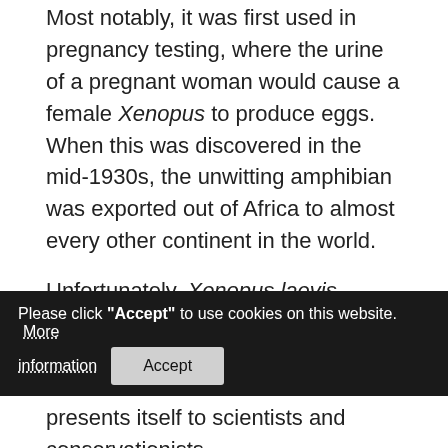Most notably, it was first used in pregnancy testing, where the urine of a pregnant woman would cause a female Xenopus to produce eggs. When this was discovered in the mid-1930s, the unwitting amphibian was exported out of Africa to almost every other continent in the world.
Unfortunately, Xenopus laevis shows no signs of infection when carrying the fungus. Therefore, exporting the species to other countries infected local populations of amphibians, without humans realising the devastating impacts until over half a centu[ry later. Batrachochytrium dendrobatidis] manifested its[elf as the] [epide]mic that presents itself to scientists and conservationists